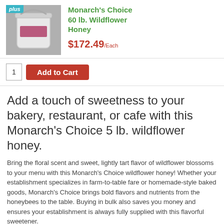[Figure (photo): White plastic bucket with label, product photo for Monarch's Choice 60 lb. Wildflower Honey]
Monarch's Choice 60 lb. Wildflower Honey
$172.49/Each
1  Add to Cart
Add a touch of sweetness to your bakery, restaurant, or cafe with this Monarch's Choice 5 lb. wildflower honey.
Bring the floral scent and sweet, lightly tart flavor of wildflower blossoms to your menu with this Monarch's Choice wildflower honey! Whether your establishment specializes in farm-to-table fare or homemade-style baked goods, Monarch's Choice brings bold flavors and nutrients from the honeybees to the table. Buying in bulk also saves you money and ensures your establishment is always fully supplied with this flavorful sweetener.